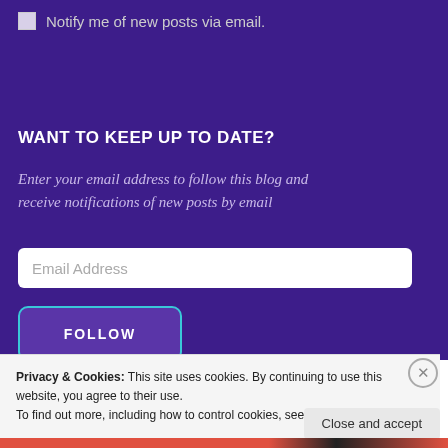Notify me of new posts via email.
WANT TO KEEP UP TO DATE?
Enter your email address to follow this blog and receive notifications of new posts by email
Email Address
FOLLOW
Privacy & Cookies: This site uses cookies. By continuing to use this website, you agree to their use.
To find out more, including how to control cookies, see here: Cookie Policy
Close and accept